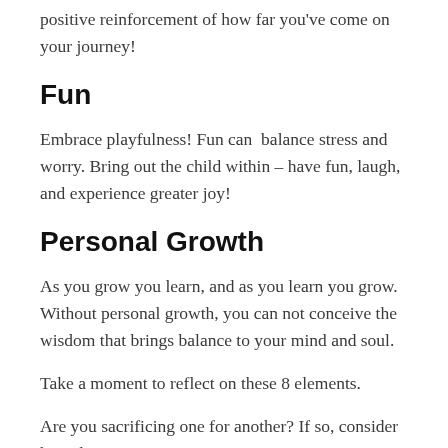positive reinforcement of how far you've come on your journey!
Fun
Embrace playfulness! Fun can  balance stress and worry. Bring out the child within – have fun, laugh, and experience greater joy!
Personal Growth
As you grow you learn, and as you learn you grow. Without personal growth, you can not conceive the wisdom that brings balance to your mind and soul.
Take a moment to reflect on these 8 elements.
Are you sacrificing one for another? If so, consider how that impacts  you.